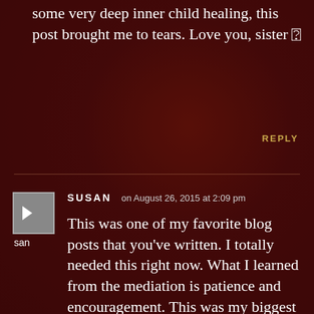some very deep inner child healing, this post brought me to tears. Love you, sister 🙏
REPLY
SUSAN   on August 26, 2015 at 2:09 pm
This was one of my favorite blog posts that you've written. I totally needed this right now. What I learned from the mediation is patience and encouragement. This was my biggest revenue month to date and it hit me